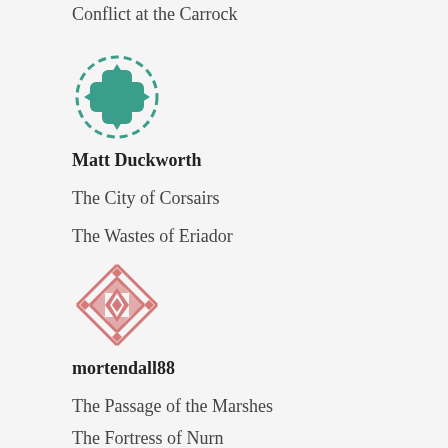Conflict at the Carrock
[Figure (logo): Teal/green decorative snowflake/cross avatar icon with dashed circular border]
Matt Duckworth
The City of Corsairs
The Wastes of Eriador
[Figure (logo): Pink/rose decorative geometric diamond pattern avatar icon]
mortendall88
The Passage of the Marshes
The Fortress of Nurn
[Figure (logo): Green starburst/pinwheel avatar icon with white square center]
Noah Baker
In Nightmares Made...at the Nightmare?